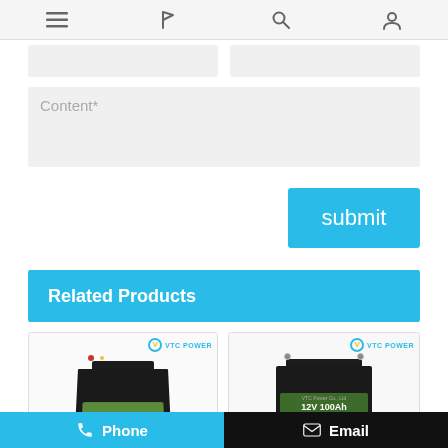[Figure (screenshot): Mobile app navigation bar with menu, flag, search, and user account icons]
[Figure (screenshot): Two text input fields (Name and Email) in a contact form]
Content*
[Figure (screenshot): Submit button in cyan/blue color]
Related Products
[Figure (photo): VTC Power black lithium battery pack product photo]
[Figure (photo): VTC Power 12V 100Ah black battery product photo]